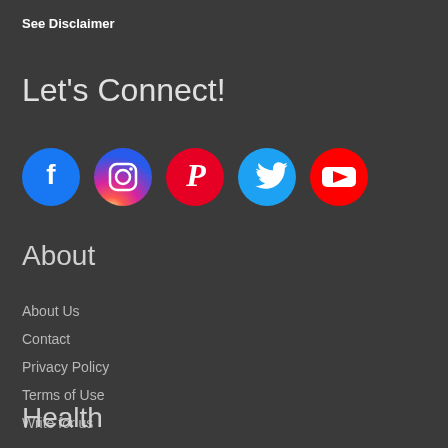See Disclaimer
Let's Connect!
[Figure (infographic): Row of five social media icon circles: Facebook (blue), Instagram (pink/magenta gradient), Pinterest (red), Twitter (light blue), YouTube (red)]
About
About Us
Contact
Privacy Policy
Terms of Use
Write for us
Health